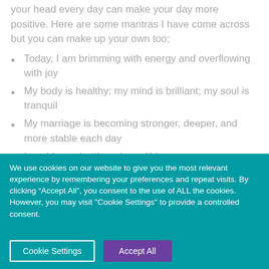your head every day can make your day more positive. Here are some mantras I have come across but you can make up your own too;
Today, I am brimming with energy and overflowing with joy
My body is healthy; my mind is brilliant; my soul is tranquil
My marriage is becoming stronger, deeper, and more stable each day
I am blessed with an incredible
We use cookies on our website to give you the most relevant experience by remembering your preferences and repeat visits. By clicking “Accept All”, you consent to the use of ALL the cookies. However, you may visit "Cookie Settings" to provide a controlled consent.
Cookie Settings   Accept All